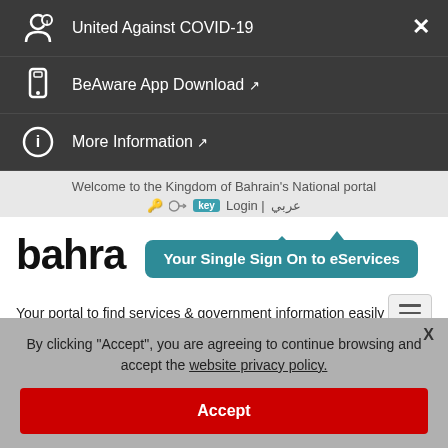United Against COVID-19
BeAware App Download
More Information
Welcome to the Kingdom of Bahrain's National portal
Login | عربي
[Figure (logo): Bahra logo with 'Your Single Sign On to eServices' teal tooltip badge]
Your portal to find services & government information easily
Cabinet
By clicking "Accept", you are agreeing to continue browsing and accept the website privacy policy.
Accept